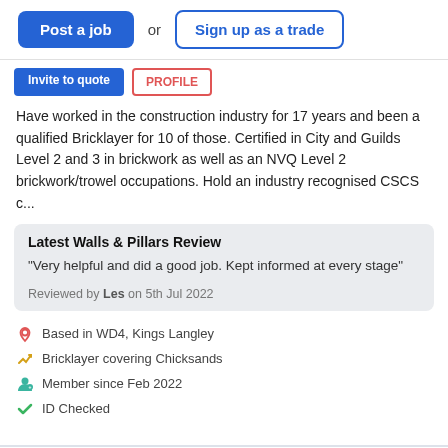[Figure (screenshot): Navigation buttons: 'Post a job' (blue filled) and 'Sign up as a trade' (blue outlined), separated by 'or' text]
[Figure (screenshot): Tab bar with two partially visible buttons: blue filled tab and red outlined tab (text partially cut off)]
Have worked in the construction industry for 17 years and been a qualified Bricklayer for 10 of those. Certified in City and Guilds Level 2 and 3 in brickwork as well as an NVQ Level 2 brickwork/trowel occupations. Hold an industry recognised CSCS c...
Latest Walls & Pillars Review
"Very helpful and did a good job. Kept informed at every stage"
Reviewed by Les on 5th Jul 2022
Based in WD4, Kings Langley
Bricklayer covering Chicksands
Member since Feb 2022
ID Checked
Cezar